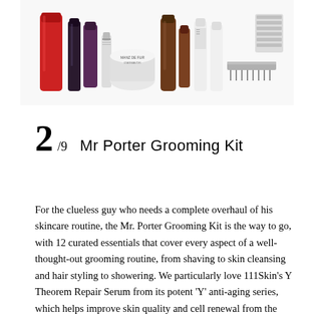[Figure (photo): A collection of grooming product bottles, tubes, and containers including red tube, dark bottles, white cream jars, and various skincare/haircare items arranged together on a white background. Includes MANZ DE FUR and other brand products.]
2/9   Mr Porter Grooming Kit
For the clueless guy who needs a complete overhaul of his skincare routine, the Mr. Porter Grooming Kit is the way to go, with 12 curated essentials that cover every aspect of a well-thought-out grooming routine, from shaving to skin cleansing and hair styling to showering. We particularly love 111Skin’s Y Theorem Repair Serum from its potent ‘Y’ anti-aging series, which helps improve skin quality and cell renewal from the inside out. Best of all, each product is travel-